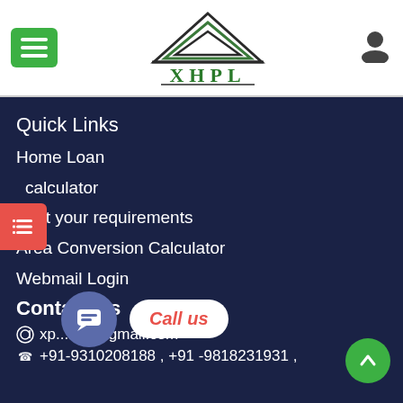[Figure (logo): XHPL company logo with house/triangle shape above text, in dark green and black]
Quick Links
Home Loan
calculator
Post your requirements
Area Conversion Calculator
Webmail Login
Contact Us
xp...nez@gmail.com
+91-9310208188 , +91 -9818231931 ,